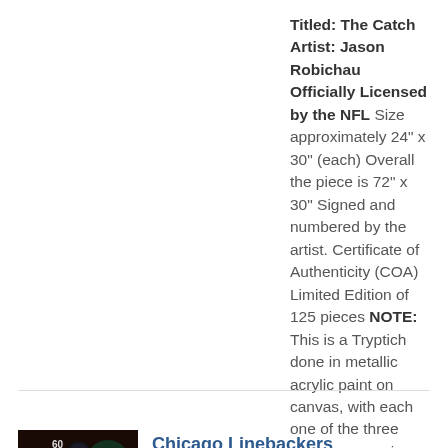Titled: The Catch Artist: Jason Robichau Officially Licensed by the NFL Size approximately 24" x 30" (each) Overall the piece is 72" x 30" Signed and numbered by the artist. Certificate of Authenticity (COA) Limited Edition of 125 pieces NOTE: This is a Tryptich done in metallic acrylic paint on canvas, with each one of the three pieces measuring 24" x 30". Placed together without spacing between, the entire painting measures 72" long.
Add to cart  Details
[Figure (photo): Thumbnail photo of Chicago Linebackers artwork showing football players in dynamic pose]
Chicago Linebackers
$1,200.00